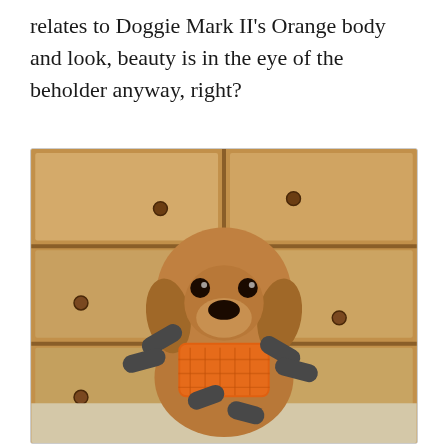relates to Doggie Mark II's Orange body and look, beauty is in the eye of the beholder anyway, right?
[Figure (photo): A brown dog holding an orange and dark grey stuffed animal toy in its mouth, sitting in front of a wooden cabinet with round knobs.]